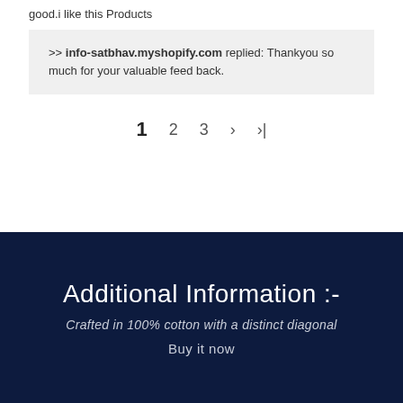good.i like this Products
>> info-satbhav.myshopify.com replied: Thankyou so much for your valuable feed back.
1  2  3  >  >|
Additional Information :-
Crafted in 100% cotton with a distinct diagonal
Buy it now